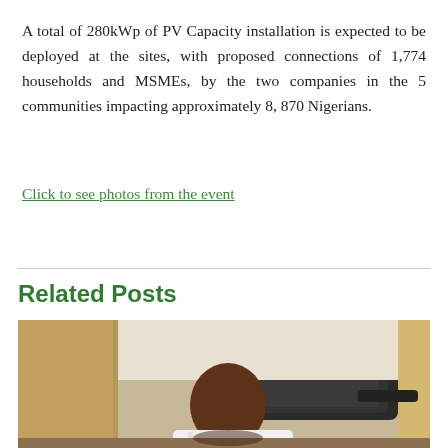A total of 280kWp of PV Capacity installation is expected to be deployed at the sites, with proposed connections of 1,774 households and MSMEs, by the two companies in the 5 communities impacting approximately 8, 870 Nigerians.
Click to see photos from the event
Related Posts
[Figure (photo): A person in a white shirt seated at a desk with a black office chair visible in the background, in an office setting with wooden-paneled walls.]